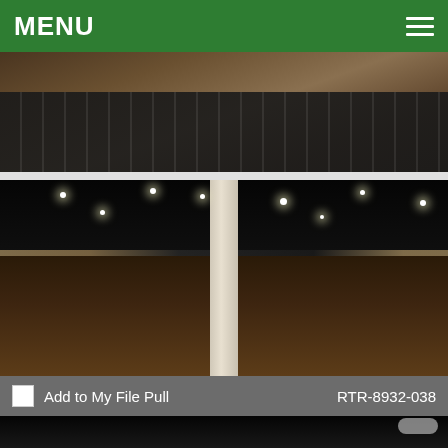MENU
[Figure (photo): Interior photo of an auditorium with rows of dark seating chairs viewed from an elevated angle, with label 'Add to My File Pull' and reference 'RTR-8932-037']
Add to My File Pull   RTR-8932-037
[Figure (photo): Large interior photo of an auditorium/event hall with rows of dark chairs, a large white pillar in the center, black ceiling with stage lighting, and a stage area in the background. Label 'Add to My File Pull' and reference 'RTR-8932-038']
Add to My File Pull   RTR-8932-038
[Figure (photo): Partially visible bottom image showing dark auditorium seating with stage lights]